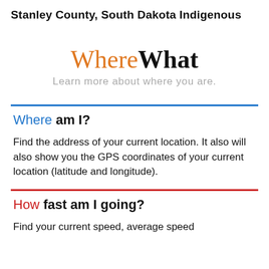Stanley County, South Dakota Indigenous
WhereWhat
Learn more about where you are.
Where am I?
Find the address of your current location. It also will also show you the GPS coordinates of your current location (latitude and longitude).
How fast am I going?
Find your current speed, average speed